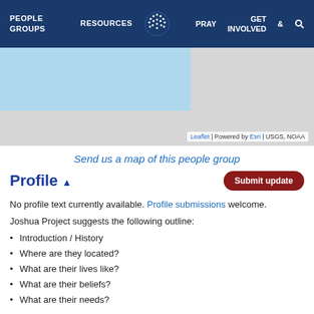PEOPLE GROUPS   RESOURCES   PRAY   GET INVOLVED
[Figure (map): Interactive map with blue region on left side and gray region on right, with Leaflet/Esri/USGS/NOAA attribution]
Send us a map of this people group
Profile ▲
No profile text currently available. Profile submissions welcome.
Joshua Project suggests the following outline:
Introduction / History
Where are they located?
What are their lives like?
What are their beliefs?
What are their needs?